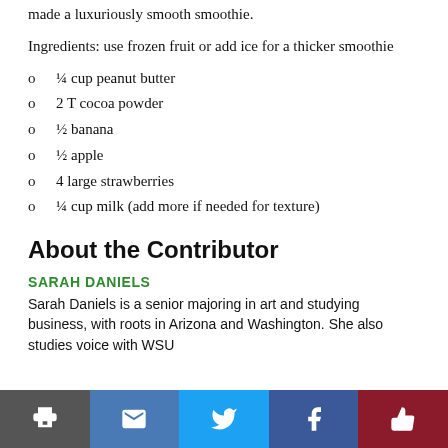made a luxuriously smooth smoothie.
Ingredients: use frozen fruit or add ice for a thicker smoothie
¼ cup peanut butter
2 T cocoa powder
½ banana
½ apple
4 large strawberries
¼ cup milk (add more if needed for texture)
About the Contributor
SARAH DANIELS
Sarah Daniels is a senior majoring in art and studying business, with roots in Arizona and Washington. She also studies voice with WSU